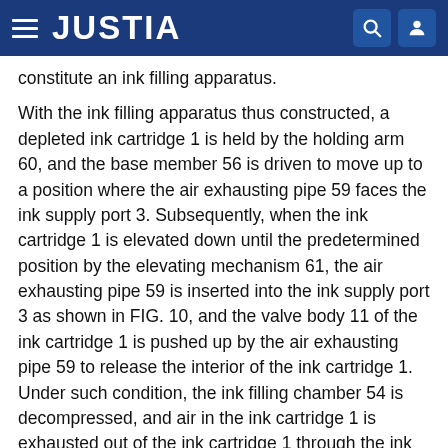JUSTIA
constitute an ink filling apparatus.
With the ink filling apparatus thus constructed, a depleted ink cartridge 1 is held by the holding arm 60, and the base member 56 is driven to move up to a position where the air exhausting pipe 59 faces the ink supply port 3. Subsequently, when the ink cartridge 1 is elevated down until the predetermined position by the elevating mechanism 61, the air exhausting pipe 59 is inserted into the ink supply port 3 as shown in FIG. 10, and the valve body 11 of the ink cartridge 1 is pushed up by the air exhausting pipe 59 to release the interior of the ink cartridge 1. Under such condition, the ink filling chamber 54 is decompressed, and air in the ink cartridge 1 is exhausted out of the ink cartridge 1 through the ink supply port 3 at a lower portion thereof and also through the air communicating hole 1a at an